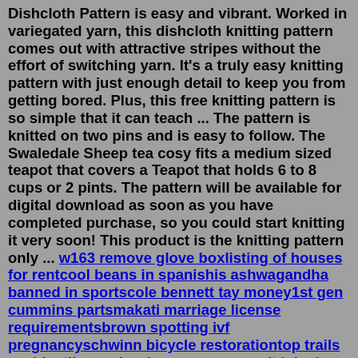Dishcloth Pattern is easy and vibrant. Worked in variegated yarn, this dishcloth knitting pattern comes out with attractive stripes without the effort of switching yarn. It's a truly easy knitting pattern with just enough detail to keep you from getting bored. Plus, this free knitting pattern is so simple that it can teach ... The pattern is knitted on two pins and is easy to follow. The Swaledale Sheep tea cosy fits a medium sized teapot that covers a Teapot that holds 6 to 8 cups or 2 pints. The pattern will be available for digital download as soon as you have completed purchase, so you could start knitting it very soon! This product is the knitting pattern only ... w163 remove glove boxlisting of houses for rentcool beans in spanishis ashwagandha banned in sportscole bennett tay money1st gen cummins partsmakati marriage license requirementsbrown spotting ivf pregnancyschwinn bicycle restorationtop trails accidentlive crab prices near menon it jobs in usa xo